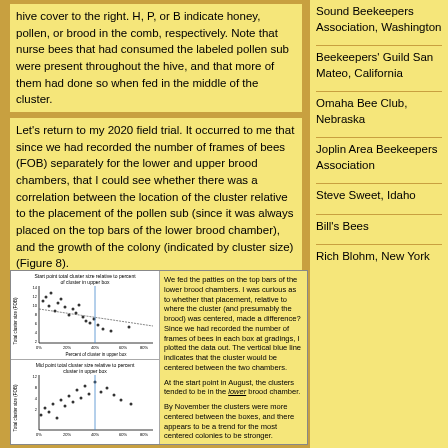hive cover to the right. H, P, or B indicate honey, pollen, or brood in the comb, respectively. Note that nurse bees that had consumed the labeled pollen sub were present throughout the hive, and that more of them had done so when fed in the middle of the cluster.
Let's return to my 2020 field trial. It occurred to me that since we had recorded the number of frames of bees (FOB) separately for the lower and upper brood chambers, that I could see whether there was a correlation between the location of the cluster relative to the placement of the pollen sub (since it was always placed on the top bars of the lower brood chamber), and the growth of the colony (indicated by cluster size) (Figure 8).
[Figure (scatter-plot): Scatter plot: Start point total cluster size relative to percent of cluster in upper box. X-axis: Percent of cluster in upper box. Y-axis: Total cluster size (FOB). Points scatter with a slight downward trend line.]
[Figure (scatter-plot): Scatter plot: Mid point total cluster size relative to percent of cluster in upper box. X-axis: Percent of cluster in upper box. Y-axis: Total cluster size (FOB). Points scatter with data points spread across chart.]
We fed the patties on the top bars of the lower brood chambers. I was curious as to whether that placement, relative to where the cluster (and presumably the brood) was centered, made a difference? Since we had recorded the number of frames of bees in each box at gradings, I plotted the data out. The vertical blue line indicates that the cluster would be centered between the two chambers.

At the start point in August, the clusters tended to be in the lower brood chamber.

By November the clusters were more centered between the boxes, and there appears to be a trend for the most centered colonies to be stronger.
Sound Beekeepers Association, Washington
Beekeepers' Guild San Mateo, California
Omaha Bee Club, Nebraska
Joplin Area Beekeepers Association
Steve Sweet, Idaho
Bill's Bees
Rich Blohm, New York